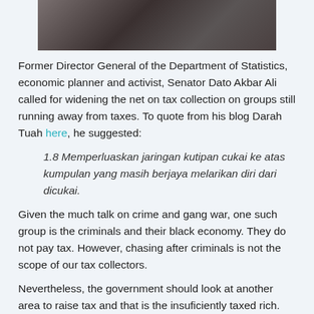[Figure (photo): Photo of a person, partially visible at top of page]
Former Director General of the Department of Statistics, economic planner and activist, Senator Dato Akbar Ali called for widening the net on tax collection on groups still running away from taxes. To quote from his blog Darah Tuah here, he suggested:
1.8 Memperluaskan jaringan kutipan cukai ke atas kumpulan yang masih berjaya melarikan diri dari dicukai.
Given the much talk on crime and gang war, one such group is the criminals and their black economy. They do not pay tax. However, chasing after criminals is not the scope of our tax collectors.
Nevertheless, the government should look at another area to raise tax and that is the insuficiently taxed rich. While the wage earner have to pay tax, Malaysia has been too friendly with the asset rich wealthier class. Our stock market capital